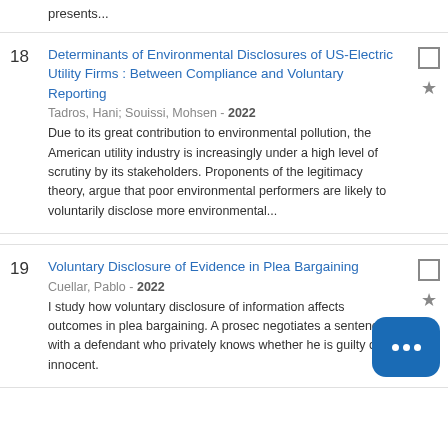presents...
18
Determinants of Environmental Disclosures of US-Electric Utility Firms : Between Compliance and Voluntary Reporting
Tadros, Hani; Souissi, Mohsen - 2022
Due to its great contribution to environmental pollution, the American utility industry is increasingly under a high level of scrutiny by its stakeholders. Proponents of the legitimacy theory, argue that poor environmental performers are likely to voluntarily disclose more environmental...
19
Voluntary Disclosure of Evidence in Plea Bargaining
Cuellar, Pablo - 2022
I study how voluntary disclosure of information affects outcomes in plea bargaining. A prosecutor negotiates a sentence with a defendant who privately knows whether he is guilty or innocent.